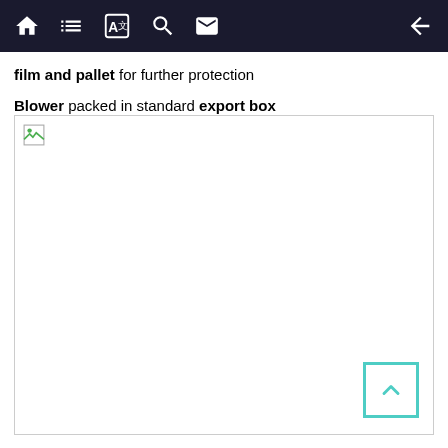Navigation bar with home, list, translate, search, mail, back icons
film and pallet for further protection
Blower packed in standard export box
[Figure (photo): Large image placeholder (broken/loading image) showing a blower packed in standard export box. A teal-bordered scroll-to-top button with a chevron up arrow is visible in the bottom-right corner of the image area.]